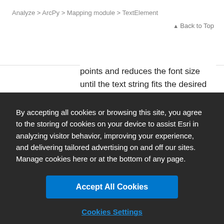Analyze > ArcPy > Mapping module > TextElement
Back to Top
points and reduces the font size until the text string fits the desired width. The text string is set up as dynamic text that represents the map's title information. This script will only run properly if you set the title property of
By accepting all cookies or browsing this site, you agree to the storing of cookies on your device to assist Esri in analyzing visitor behavior, improving your experience, and delivering tailored advertising on and off our sites. Manage cookies here or at the bottom of any page.
Accept All Cookies
Cookies Settings